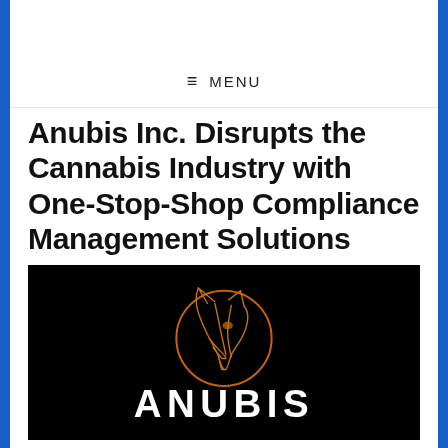MENU
Anubis Inc. Disrupts the Cannabis Industry with One-Stop-Shop Compliance Management Solutions
[Figure (logo): Anubis Inc. logo: orange line-art jackal head inside an orange circle on a black background, with the word ANUBIS in large white letters below]